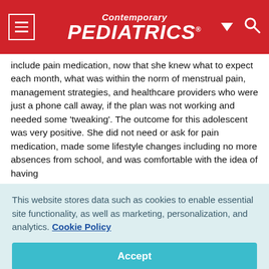Contemporary PEDIATRICS
include pain medication, now that she knew what to expect each month, what was within the norm of menstrual pain, management strategies, and healthcare providers who were just a phone call away, if the plan was not working and needed some 'tweaking'. The outcome for this adolescent was very positive. She did not need or ask for pain medication, made some lifestyle changes including no more absences from school, and was comfortable with the idea of having
This website stores data such as cookies to enable essential site functionality, as well as marketing, personalization, and analytics. Cookie Policy
Accept
Deny